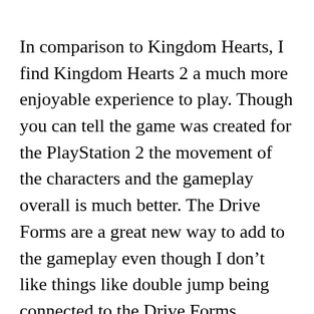In comparison to Kingdom Hearts, I find Kingdom Hearts 2 a much more enjoyable experience to play. Though you can tell the game was created for the PlayStation 2 the movement of the characters and the gameplay overall is much better. The Drive Forms are a great new way to add to the gameplay even though I don't like things like double jump being connected to the Drive Forms. Overall, Kingdom Hearts 2 is one of the best games in the series both story and gameplay wise from what I've played so far.
I'm currently making my way through the rest of the series and since 2022 is the 20th